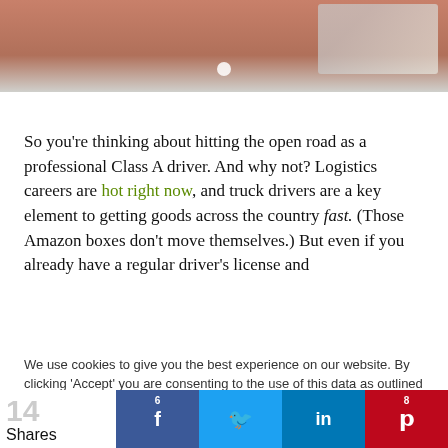[Figure (photo): Partial photo of a person in an orange/red jacket near a truck, with a white dot/slider indicator visible]
So you're thinking about hitting the open road as a professional Class A driver. And why not? Logistics careers are hot right now, and truck drivers are a key element to getting goods across the country fast. (Those Amazon boxes don't move themselves.) But even if you already have a regular driver's license and
We use cookies to give you the best experience on our website. By clicking 'Accept' you are consenting to the use of this data as outlined in our Privacy and Cookie Policy.
Accept
14 Shares